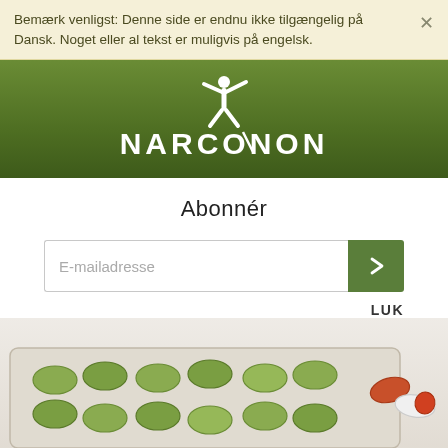Bemærk venligst: Denne side er endnu ikke tilgængelig på Dansk. Noget eller al tekst er muligvis på engelsk.
[Figure (logo): Narconon logo — white stylized figure with arms raised above the word NARCONON in white capital letters on a dark olive-green background]
Abonnér
E-mailadresse
LUK
[Figure (photo): Close-up photograph of blister packs of green tablets/pills on the left and loose red and white capsules on the right, on a white surface]